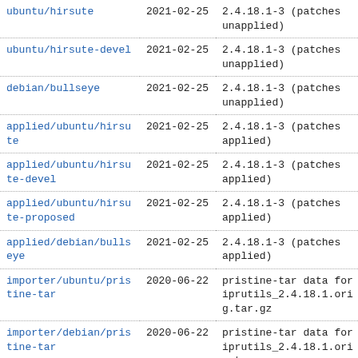| Branch | Date | Version/Description |
| --- | --- | --- |
| ubuntu/hirsute | 2021-02-25 | 2.4.18.1-3 (patches unapplied) |
| ubuntu/hirsute-devel | 2021-02-25 | 2.4.18.1-3 (patches unapplied) |
| debian/bullseye | 2021-02-25 | 2.4.18.1-3 (patches unapplied) |
| applied/ubuntu/hirsute | 2021-02-25 | 2.4.18.1-3 (patches applied) |
| applied/ubuntu/hirsute-devel | 2021-02-25 | 2.4.18.1-3 (patches applied) |
| applied/ubuntu/hirsute-proposed | 2021-02-25 | 2.4.18.1-3 (patches applied) |
| applied/debian/bullseye | 2021-02-25 | 2.4.18.1-3 (patches applied) |
| importer/ubuntu/pristine-tar | 2020-06-22 | pristine-tar data for iprutils_2.4.18.1.orig.tar.gz |
| importer/debian/pristine-tar | 2020-06-22 | pristine-tar data for iprutils_2.4.18.1.orig.tar.gz |
| ubuntu/eoan | 2019-08-03 | 2.4.18.1-2 (patches unapplied) |
| applied/ubuntu/eoan | 2019-08-03 | 2.4.18.1-2 (patches |